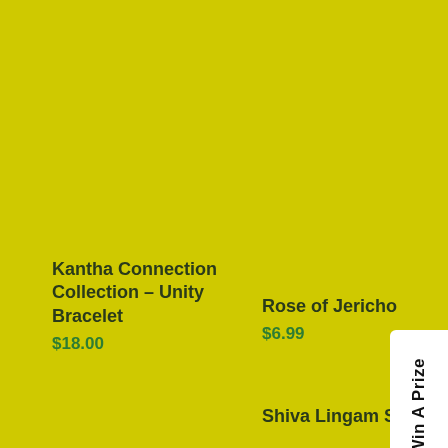Kantha Connection Collection – Unity Bracelet
$18.00
Rose of Jericho
$6.99
Shiva Lingam Stones
Win A Prize